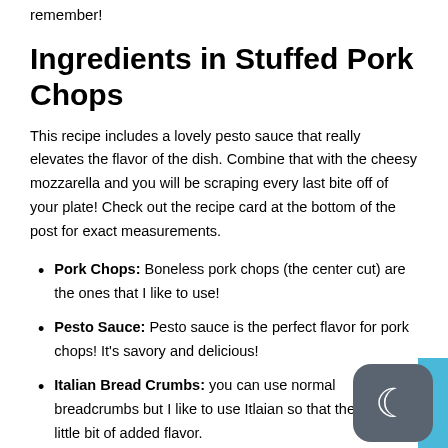remember!
Ingredients in Stuffed Pork Chops
This recipe includes a lovely pesto sauce that really elevates the flavor of the dish. Combine that with the cheesy mozzarella and you will be scraping every last bite off of your plate! Check out the recipe card at the bottom of the post for exact measurements.
Pork Chops: Boneless pork chops (the center cut) are the ones that I like to use!
Pesto Sauce: Pesto sauce is the perfect flavor for pork chops! It's savory and delicious!
Italian Bread Crumbs: you can use normal breadcrumbs but I like to use Itlaian so that there is a little bit of added flavor.